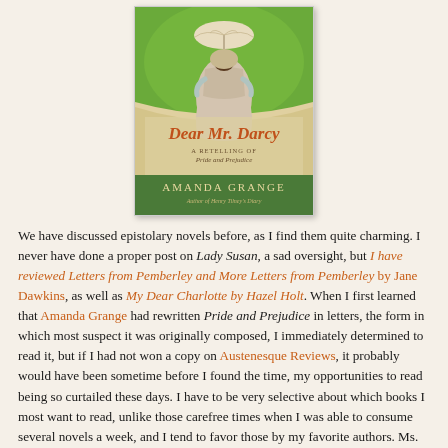[Figure (illustration): Book cover of 'Dear Mr. Darcy: A Retelling of Pride and Prejudice' by Amanda Grange. Shows a woman in Regency-era dress with a parasol viewed from behind, standing on green grass. The title is in cursive orange/red script, subtitle in smaller text, author name in green serif capitals at the bottom.]
We have discussed epistolary novels before, as I find them quite charming. I never have done a proper post on Lady Susan, a sad oversight, but I have reviewed Letters from Pemberley and More Letters from Pemberley by Jane Dawkins, as well as My Dear Charlotte by Hazel Holt. When I first learned that Amanda Grange had rewritten Pride and Prejudice in letters, the form in which most suspect it was originally composed, I immediately determined to read it, but if I had not won a copy on Austenesque Reviews, it probably would have been sometime before I found the time, my opportunities to read being so curtailed these days. I have to be very selective about which books I most want to read, unlike those carefree times when I was able to consume several novels a week, and I tend to favor those by my favorite authors. Ms. Grange, alas